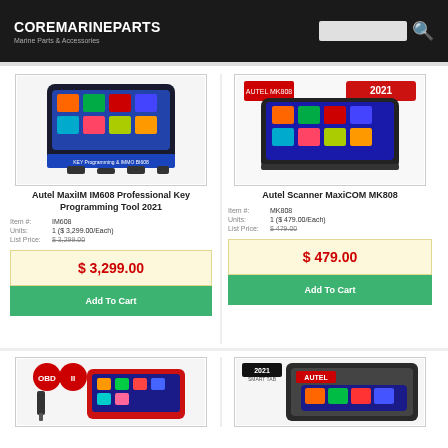COREMARINEPARTS Marine Parts & Accessories
[Figure (photo): Autel MaxiIM IM608 Professional Key Programming Tool 2021 product image showing a tablet-style device with colorful icons]
[Figure (photo): Autel Scanner MaxiCOM MK808 product image showing a tablet-style scanner device with 2021 label]
Autel MaxiIM IM608 Professional Key Programming Tool 2021
Autel Scanner MaxiCOM MK808
| Item #: | IM608 |
| Units: | 1 ($ 3,299.00/Each) |
| List Price: | $ 3,299.00 |
| Item #: | MK808 |
| Units: | 1 ($ 479.00/Each) |
| List Price: | $ 479.00 |
$ 3,299.00
$ 479.00
Add To Cart
Add To Cart
[Figure (photo): Third product image showing a handheld diagnostic scanner device]
[Figure (photo): Fourth product image showing Autel device in a case with 2021 label]